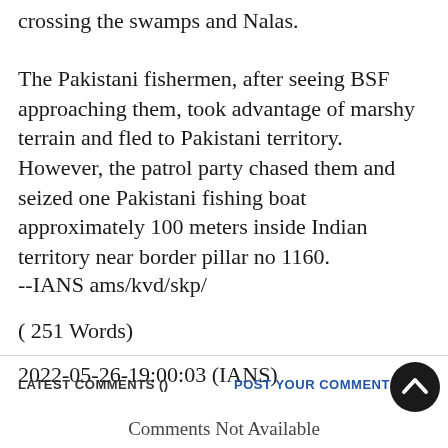crossing the swamps and Nalas.
The Pakistani fishermen, after seeing BSF approaching them, took advantage of marshy terrain and fled to Pakistani territory. However, the patrol party chased them and seized one Pakistani fishing boat approximately 100 meters inside Indian territory near border pillar no 1160.
--IANS ams/kvd/skp/
( 251 Words)
2022-05-26-19:00:03 (IANS)
LATEST COMMENTS ()   POST YOUR COMMENT   Comments Not Available